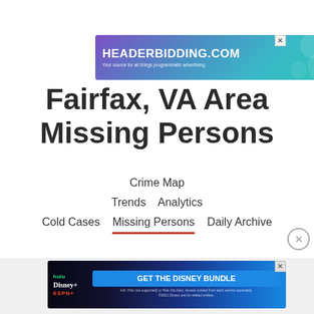[Figure (screenshot): HEADERBIDDING.COM advertisement banner — 'Your source for all things programmatic advertising.' with teal/purple gradient background and close button]
Fairfax, VA Area Missing Persons
Crime Map
Trends   Analytics
Cold Cases   Missing Persons   Daily Archive
[Figure (screenshot): GET THE DISNEY BUNDLE advertisement banner featuring Hulu, Disney+, ESPN+ logos with dark blue gradient background and close button]